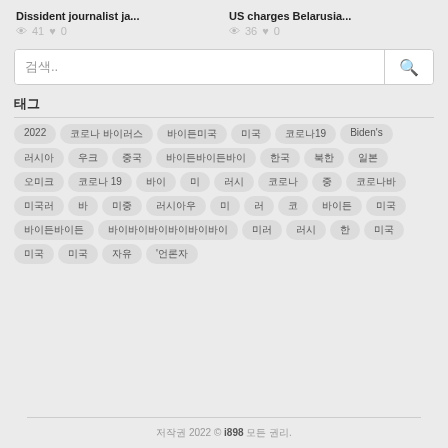Dissident journalist ja... 👁 41 ♥ 0
US charges Belarusia... 👁 36 ♥ 0
검색..
태그
2022
코로나 바이러스
바이든미국
미국
코로나19
Biden's
러시아
우크
중국
바이든바이든바이
한국
북한
일본
오미크
코로나 19
바이
미
러시
코로나
중
코로나바
미국러
바
미중
러시아우
미
러
코
바이든
미국
바이든바이든
바이바이바이바이바이바이
미러
러시
한
미국
미국
미국
자유
'언론자
저작권 2022 © i898 모든 권리.